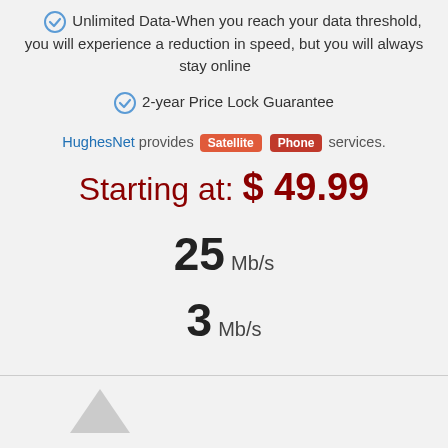Unlimited Data-When you reach your data threshold, you will experience a reduction in speed, but you will always stay online
2-year Price Lock Guarantee
HughesNet provides Satellite Phone services.
Starting at: $ 49.99
25 Mb/s
3 Mb/s